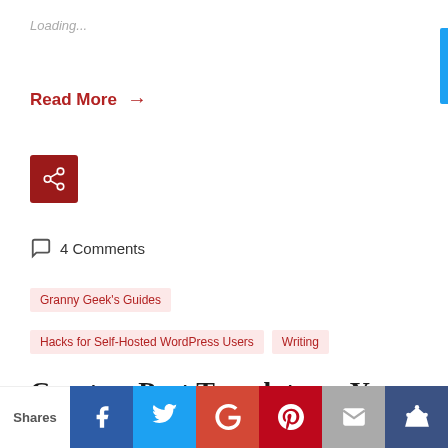Loading...
Read More →
[Figure (other): Share icon button (dark red background with share/network icon)]
4 Comments
Granny Geek's Guides
Hacks for Self-Hosted WordPress Users
Writing
Create a Post Template on Your Self–hosted WordPress Site
[Figure (other): Social share bar with Shares label, Facebook, Twitter, Google+, Pinterest, Email, and crown/bookmark buttons]